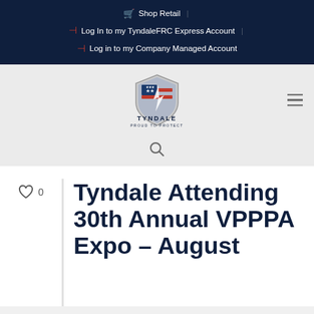Shop Retail | Log In to my TyndaleFRC Express Account | Log in to my Company Managed Account
[Figure (logo): Tyndale logo with shield icon featuring American flag design. Text reads TYNDALE PROUD TO PROTECT.]
Tyndale Attending 30th Annual VPPPA Expo – August